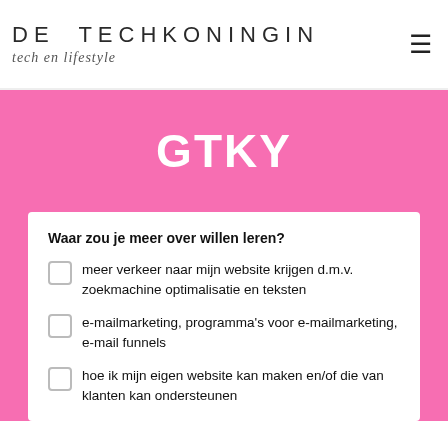DE TECHKONINGIN tech en lifestyle
GTKY
Waar zou je meer over willen leren?
meer verkeer naar mijn website krijgen d.m.v. zoekmachine optimalisatie en teksten
e-mailmarketing, programma's voor e-mailmarketing, e-mail funnels
hoe ik mijn eigen website kan maken en/of die van klanten kan ondersteunen